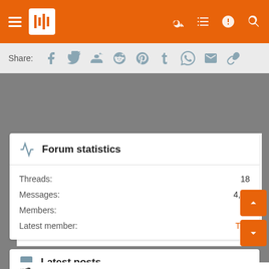Forum nav bar with hamburger menu, logo, key, list, alert, search icons
Share:
[Figure (screenshot): Gray spacer / advertisement area]
Forum statistics
Threads: 18
Messages: 4,18...
Members: 1
Latest member: T2_...
Latest posts
Big 12 to meet to consider 6 new teams(PAC)